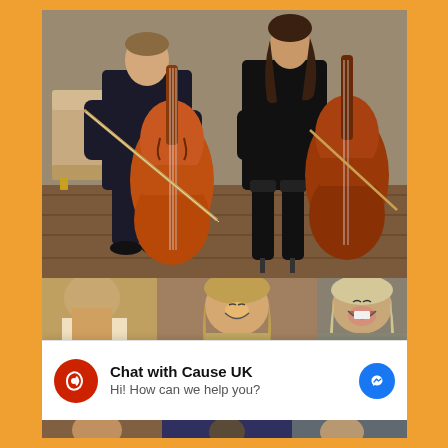[Figure (photo): Two musicians (a man in dark shirt and a woman in black) playing cellos, seated on a wooden floor with an ornate sofa in the background. Both holding cello bows.]
[Figure (photo): Strip photo showing three women laughing and smiling, appearing to be at a social or entertainment event.]
Chat with Cause UK
Hi! How can we help you?
[Figure (photo): Partial strip photo at bottom, showing people in a group setting.]
Privacy · Terms